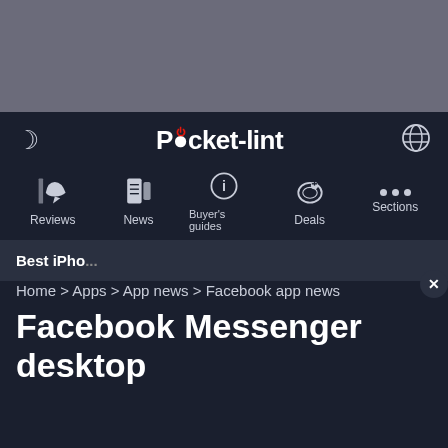[Figure (screenshot): Gray advertisement banner placeholder at top of page]
[Figure (screenshot): Pocket-lint website navigation bar with dark background, moon icon, Pocket-lint logo, globe icon, and navigation items: Reviews, News, Buyer's guides, Deals, Sections]
[Figure (screenshot): Video overlay showing 'BUTTON?' text with yellow arrow pointing to a red device being held, with play button icon]
Best iPho...
Search on Pocket-lint
Pocket-lint is supported by its readers. Wh... we may earn an affiliate commission. Learn more
Home > Apps > App news > Facebook app news
Facebook Messenger desktop